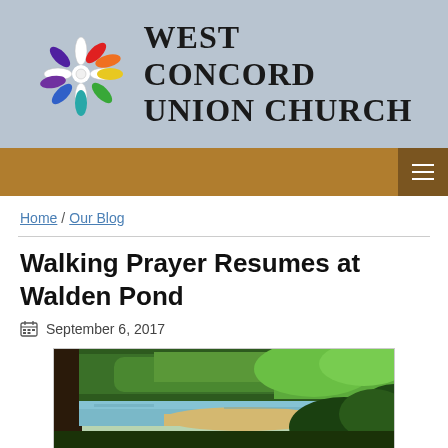[Figure (logo): West Concord Union Church logo with colorful cross/flower and text]
West Concord Union Church
Home / Our Blog
Walking Prayer Resumes at Walden Pond
September 6, 2017
[Figure (photo): Photograph of Walden Pond showing a calm lake surrounded by green trees, with a sandy shore visible]